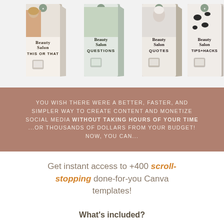[Figure (illustration): Four Beauty Salon product box sets displayed side by side: 'This or That', 'Questions', 'Quotes', and 'Tips + Hacks'. Each box depicts a beauty/salon themed social media template package with a phone mockup. The first box features a woman with blonde hair.]
YOU WISH THERE WERE A BETTER, FASTER, AND SIMPLER WAY TO CREATE CONTENT AND MONETIZE SOCIAL MEDIA WITHOUT TAKING HOURS OF YOUR TIME ...OR THOUSANDS OF DOLLARS FROM YOUR BUDGET! NOW, YOU CAN...
Get instant access to +400 scroll-stopping done-for-you Canva templates!
What's included?